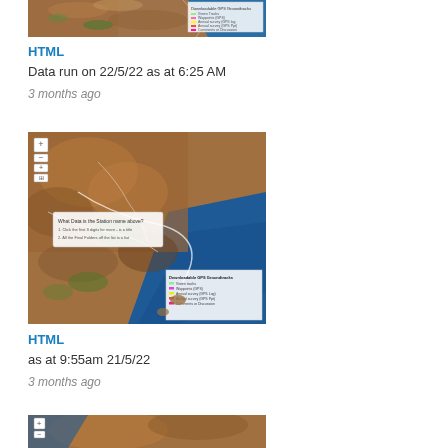[Figure (map): Satellite/aerial map showing coastal region with terrain, partially cropped at top]
HTML
Data run on 22/5/22 as at 6:25 AM
3 months ago
[Figure (map): Satellite/aerial map showing arid coastal region with a legend overlay showing GPS coordinates and track information]
HTML
as at 9:55am 21/5/22
3 months ago
[Figure (map): Satellite/aerial map partially visible at bottom, showing arid terrain]